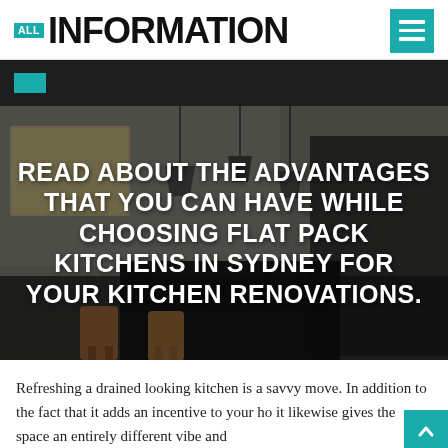ALL INFORMATION
[Figure (photo): Kitchen interior with dark countertops, wooden stools, pendant lights, and a world map on the wall. Serves as hero image background.]
READ ABOUT THE ADVANTAGES THAT YOU CAN HAVE WHILE CHOOSING FLAT PACK KITCHENS IN SYDNEY FOR YOUR KITCHEN RENOVATIONS.
Refreshing a drained looking kitchen is a savvy move. In addition to the fact that it adds an incentive to your ho it likewise gives the space an entirely different vibe and